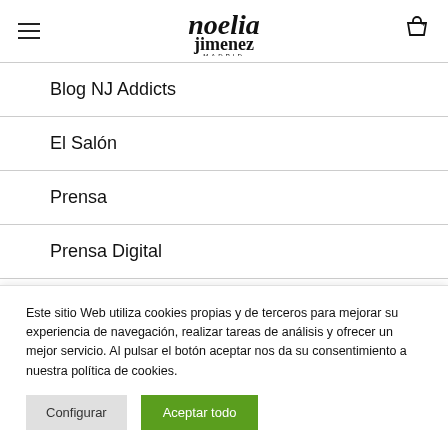Noelia Jimenez Madrid — navigation header with logo and cart icon
Blog NJ Addicts
El Salón
Prensa
Prensa Digital
Prensa Escrita
Este sitio Web utiliza cookies propias y de terceros para mejorar su experiencia de navegación, realizar tareas de análisis y ofrecer un mejor servicio. Al pulsar el botón aceptar nos da su consentimiento a nuestra política de cookies.
Configurar
Aceptar todo